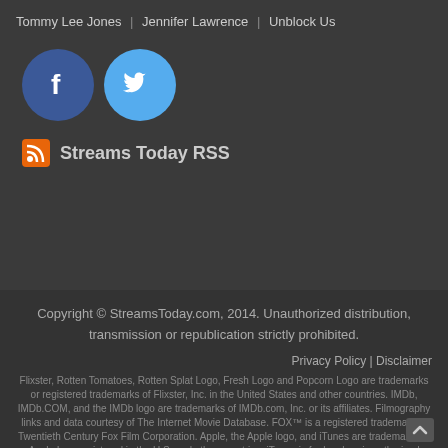Tommy Lee Jones | Jennifer Lawrence | Unblock Us
[Figure (logo): Facebook circular logo icon (blue circle with white F)]
[Figure (logo): Twitter circular logo icon (light blue circle with white bird)]
Streams Today RSS
Copyright © StreamsToday.com, 2014. Unauthorized distribution, transmission or republication strictly prohibited.
Privacy Policy | Disclaimer
Flixster, Rotten Tomatoes, Rotten Splat Logo, Fresh Logo and Popcorn Logo are trademarks or registered trademarks of Flixster, Inc. in the United States and other countries. IMDb, IMDb.COM, and the IMDb logo are trademarks of IMDb.com, Inc. or its affiliates. Filmography links and data courtesy of The Internet Movie Database. FOX™ is a registered trademark of Twentieth Century Fox Film Corporation. Apple, the Apple logo, and iTunes are trademarks of Apple Inc., registered in the U.S. and other countries. iTunes is for legal or rig authorized copying only. Don't steal music.